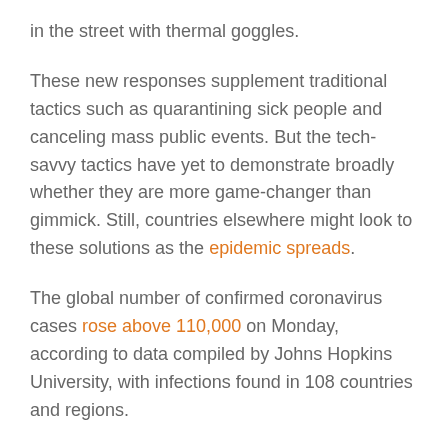in the street with thermal goggles.
These new responses supplement traditional tactics such as quarantining sick people and canceling mass public events. But the tech-savvy tactics have yet to demonstrate broadly whether they are more game-changer than gimmick. Still, countries elsewhere might look to these solutions as the epidemic spreads.
The global number of confirmed coronavirus cases rose above 110,000 on Monday, according to data compiled by Johns Hopkins University, with infections found in 108 countries and regions.
In South Korea, the country hit hardest by the virus after China and Italy, the government rolled out a "Self-Quarantine Safety Protection" tracking app to keep digital eyeballs on the roughly 30,000 people officials told to stay home for two weeks. If a